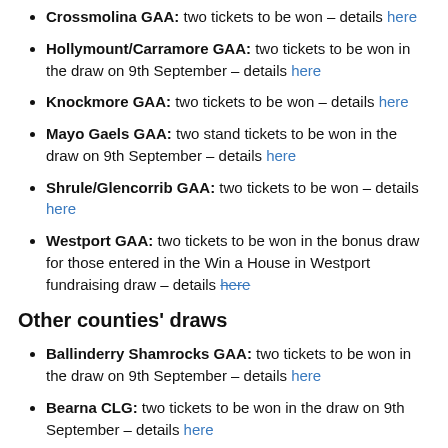Crossmolina GAA: two tickets to be won – details here
Hollymount/Carramore GAA: two tickets to be won in the draw on 9th September – details here
Knockmore GAA: two tickets to be won – details here
Mayo Gaels GAA: two stand tickets to be won in the draw on 9th September – details here
Shrule/Glencorrib GAA: two tickets to be won – details here
Westport GAA: two tickets to be won in the bonus draw for those entered in the Win a House in Westport fundraising draw – details here
Other counties' draws
Ballinderry Shamrocks GAA: two tickets to be won in the draw on 9th September – details here
Bearna CLG: two tickets to be won in the draw on 9th September – details here
Carrickredmond GAA: one ticket to be won in the draw on 9th September – details here NEW
Carrickshock GAA: two tickets to be won in the